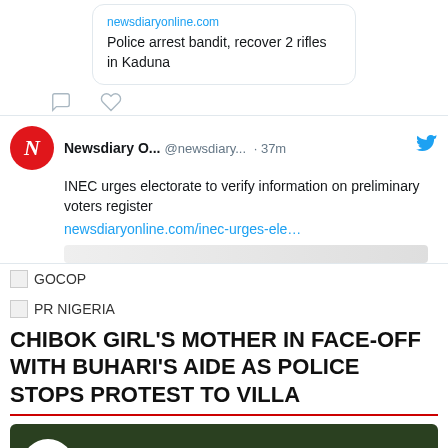[Figure (screenshot): Tweet card showing a linked article from newsdiaryonline.com titled 'Police arrest bandit, recover 2 rifles in Kaduna' with comment and like icons below]
[Figure (screenshot): Tweet from Newsdiary O... @newsdiary... 37m ago about INEC urging electorate to verify information on preliminary voters register with link newsdiaryonline.com/inec-urges-ele...]
GOCOP
PR NIGERIA
CHIBOK GIRL'S MOTHER IN FACE-OFF WITH BUHARI'S AIDE AS POLICE STOPS PROTEST TO VILLA
[Figure (screenshot): Video thumbnail showing Newsdiary logo (red N) and text 'Video:Chibok girl's Mother In Face-...' with three-dot menu icon, over a dark outdoor background image]